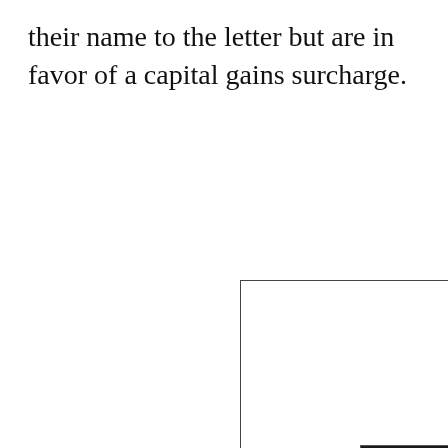their name to the letter but are in favor of a capital gains surcharge.
[Figure (screenshot): A white rectangle with a thin border representing an embedded video or content area, with a popup overlay showing 'Up Next - OP-ED | Before You Vote, ...' with an ad for Leora Levy campaign, and footer text reading 'OP-ED | BEFORE YOU VOTE, ASK YOUR CANDIDATES TWO SIMPLE QUESTIONS | CT NEWS JUNKIE']